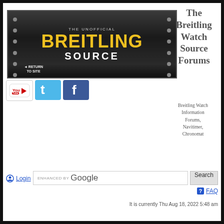[Figure (logo): The Unofficial Breitling Source banner with dark metallic background, yellow BREITLING text, white SOURCE text, return to site label, and rivet dots on sides]
[Figure (logo): YouTube icon - white background with red and black YouTube logo]
[Figure (logo): Twitter icon - blue background with white bird logo]
[Figure (logo): Facebook icon - blue background with white f logo]
The Breitling Watch Source Forums
Breitling Watch Information Forums, Navitimer, Chronomat
ENHANCED BY Google
Search
Login
FAQ
It is currently Thu Aug 18, 2022 5:48 am